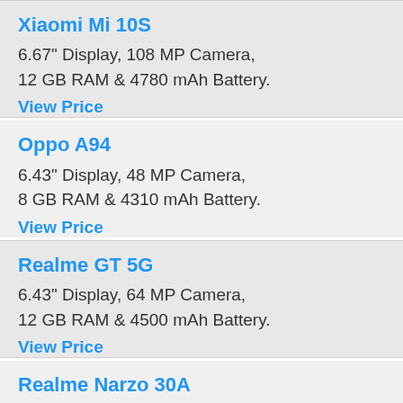Xiaomi Mi 10S
6.67" Display, 108 MP Camera, 12 GB RAM & 4780 mAh Battery.
View Price
Oppo A94
6.43" Display, 48 MP Camera, 8 GB RAM & 4310 mAh Battery.
View Price
Realme GT 5G
6.43" Display, 64 MP Camera, 12 GB RAM & 4500 mAh Battery.
View Price
Realme Narzo 30A
6.5" Display, 13 MP Camera, 4 GB RAM & 6000 mAh Battery.
View Price